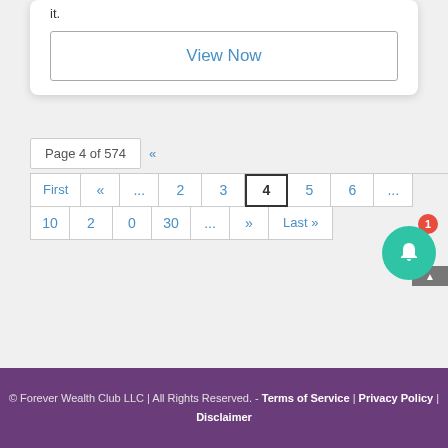it.
View Now
Page 4 of 574  «  First  «  ...  2  3  4  5  6  ...  10  20  30  ...  »  Last »
© Forever Wealth Club LLC | All Rights Reserved. - Terms of Service | Privacy Policy | Disclaimer